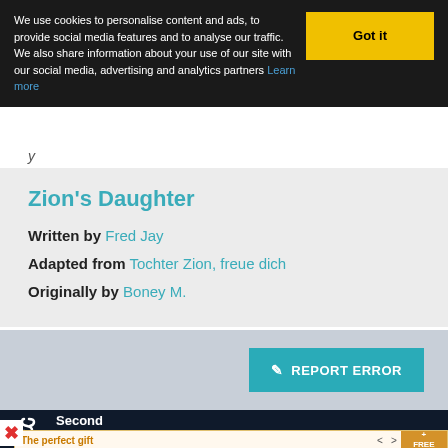We use cookies to personalise content and ads, to provide social media features and to analyse our traffic. We also share information about your use of our site with our social media, advertising and analytics partners Learn more
Got it
Zion's Daughter
Written by Fred Jay
Adapted from Tochter Zion, freue dich
Originally by Boney M.
REPORT ERROR
[Figure (logo): Second Hand Songs logo with stylized S icon in white on dark background]
The perfect gift
35% OFF + FREE SHIPPING